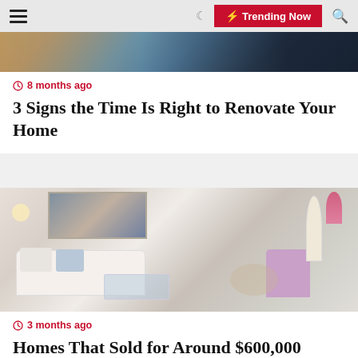Trending Now
[Figure (photo): Top portion of a home renovation scene showing shelves with blue books/binders and decorative items.]
8 months ago
3 Signs the Time Is Right to Renovate Your Home
[Figure (photo): Bright modern living room with white sofa, glass coffee table, purple accent chairs, and dining area in background.]
3 months ago
Homes That Sold for Around $600,000